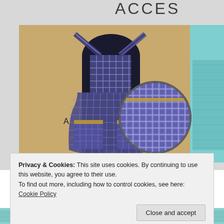[Figure (photo): A sewing pattern package photo showing a dark navy/white gingham check apron on a dress form mannequin. The apron has cross-back straps, a bib top, gathered skirt, and patch pockets with decorative trim. A circular inset detail shows a close-up of the gingham fabric with embellishment stitching. Label 'A' appears on the image. Partial text 'ACCES' visible at top. A teal/mint colored garment is visible at the right edge. The background is tan/kraft colored.]
Privacy & Cookies: This site uses cookies. By continuing to use this website, you agree to their use.
To find out more, including how to control cookies, see here: Cookie Policy
[Figure (photo): Partial bottom strip showing a teal/light blue textured fabric or garment.]